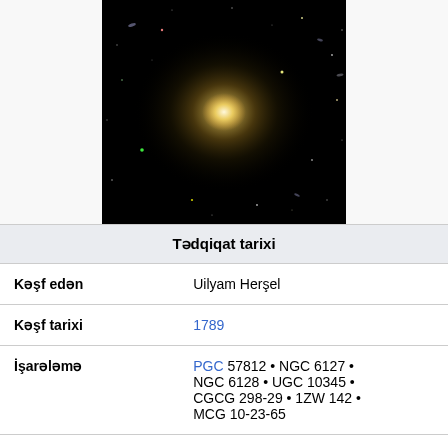[Figure (photo): Astronomical image of a galaxy (elliptical galaxy) surrounded by stars on a dark background, yellowish glow in the center.]
Tədqiqat tarixi
| Kəşf edən | Uilyam Herşel |
| Kəşf tarixi | 1789 |
| İşarələmə | PGC 57812 • NGC 6127 • NGC 6128 • UGC 10345 • CGCG 298-29 • 1ZW 142 • MCG 10-23-65 |